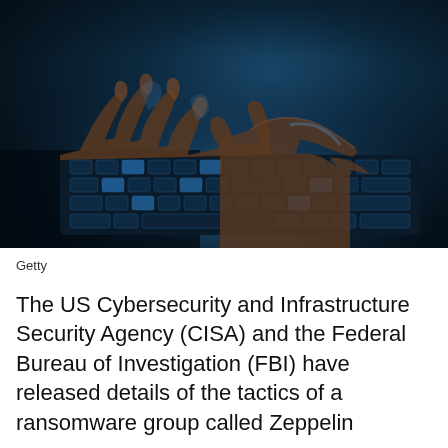[Figure (photo): Hands typing on a keyboard illuminated by blue light, dark background — cybersecurity themed stock photo]
Getty
The US Cybersecurity and Infrastructure Security Agency (CISA) and the Federal Bureau of Investigation (FBI) have released details of the tactics of a ransomware group called Zeppelin